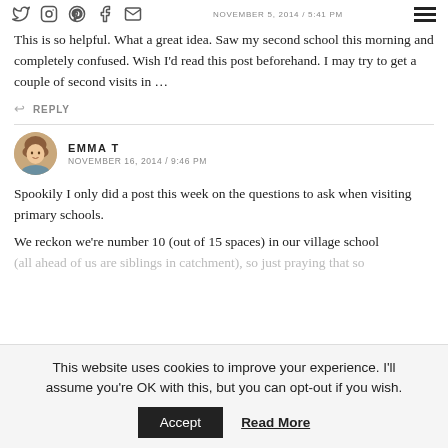NOVEMBER 5, 2014 / 5:41 PM
This is so helpful. What a great idea. Saw my second school this morning and completely confused. Wish I'd read this post beforehand. I may try to get a couple of second visits in …
↩ REPLY
EMMA T
NOVEMBER 16, 2014 / 9:46 PM
Spookily I only did a post this week on the questions to ask when visiting primary schools.
We reckon we're number 10 (out of 15 spaces) in our village school (all ahead of us are siblings in catchment), so just praying that so
This website uses cookies to improve your experience. I'll assume you're OK with this, but you can opt-out if you wish.
Accept    Read More